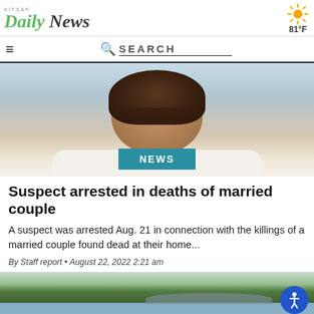Kitsap Daily News — 81°F
[Figure (photo): Back of a person's head with short curly dark hair, wearing a white shirt, against a light blue background. A teal NEWS badge overlays the bottom center of the image.]
Suspect arrested in deaths of married couple
A suspect was arrested Aug. 21 in connection with the killings of a married couple found dead at their home...
By Staff report • August 22, 2022 2:21 am
[Figure (photo): Scenic landscape photo showing water, forest treeline, and distant hills under a light sky. An accessibility icon (person in circle) appears in the lower right corner.]